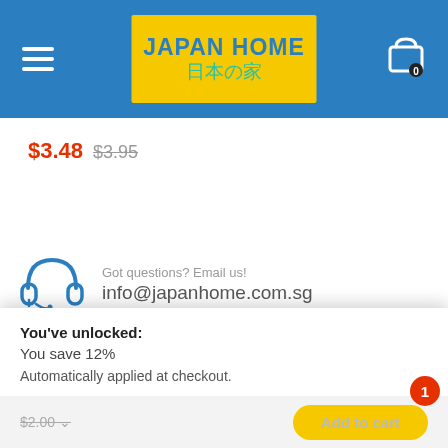[Figure (logo): Japan Home logo - yellow rectangle with 'JAPAN HOME' in blue bold text and Japanese characters '日本の家' in teal below]
$3.48  $3.95
[Figure (illustration): Blue headphone/headset icon]
Got questions? Email us!
info@japanhome.com.sg
Head Office
3 Changi South Street 2, #01-00 to #04-00
Xilin Districtcentre Building A
You've unlocked:
You save 12%
Automatically applied at checkout.
$2.00
Add to cart